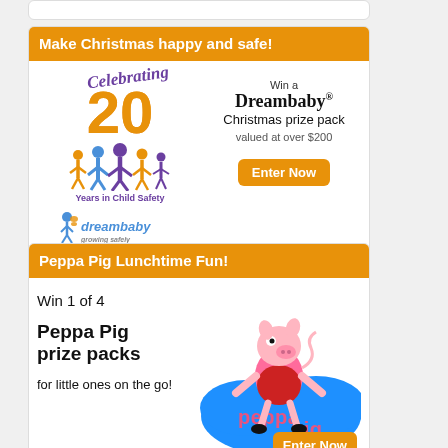[Figure (illustration): Partial top of a white card with a 'Where a smile means a giggle' and orange button visible at the top edge]
Make Christmas happy and safe!
[Figure (illustration): Dreambaby advertisement showing 'Celebrating 20 Years in Child Safety' logo with colorful family figures, and text 'Win a Dreambaby Christmas prize pack valued at over $200' with orange Enter Now button]
Peppa Pig Lunchtime Fun!
Win 1 of 4
Peppa Pig prize packs
[Figure (illustration): Peppa Pig logo on blue background with Peppa Pig character]
for little ones on the go!